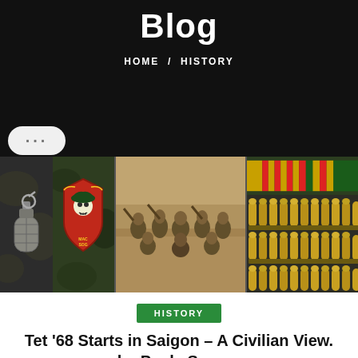Blog
HOME / HISTORY
[Figure (photo): Collage of three panels: left shows a military grenade and a Special Forces unit badge (red shield with skull and green beret), center shows a sepia-toned group photo of soldiers in Vietnam-era uniforms, right shows a military service ribbon and rows of ammunition bullets]
HISTORY
Tet '68 Starts in Saigon – A Civilian View. by Paula Spears